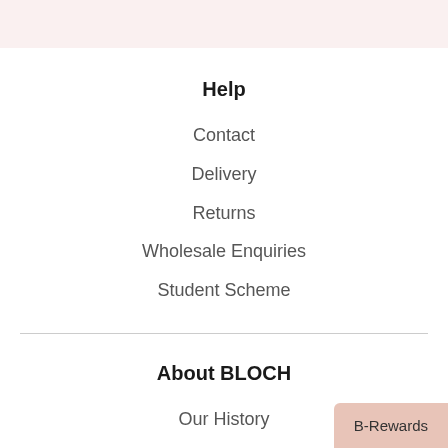Help
Contact
Delivery
Returns
Wholesale Enquiries
Student Scheme
About BLOCH
Our History
Our Stores
Pointe Shoe Fittings
B-Rewards